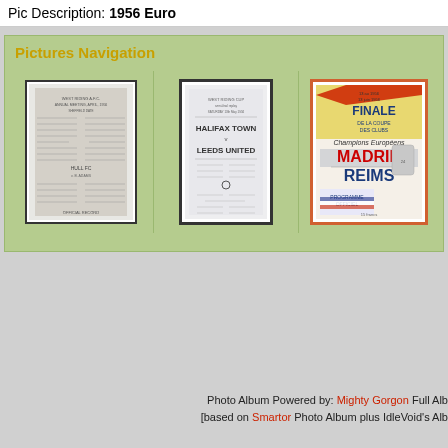Pic Description: 1956 Euro
Pictures Navigation
[Figure (photo): Scanned football match programme or team sheet, handwritten/typed text, grayscale]
[Figure (photo): Scanned football match programme: Halifax Town vs Leeds United, West Riding Cup]
[Figure (photo): Scanned football programme: Finale de la Coupe des Clubs Champions Europeens, MADRID vs REIMS, colourful cover with Spanish flag stripe]
Photo Album Powered by: Mighty Gorgon Full Alb
[based on Smartor Photo Album plus IdleVoid's Alb